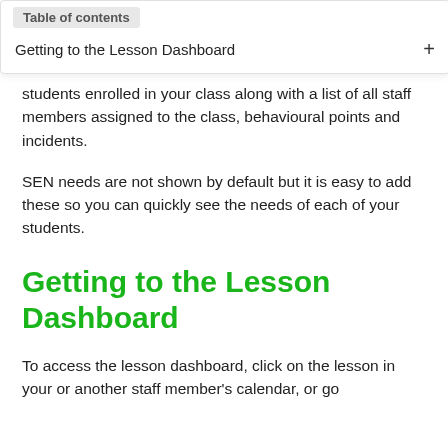Table of contents
Getting to the Lesson Dashboard
students enrolled in your class along with a list of all staff members assigned to the class, behavioural points and incidents.
SEN needs are not shown by default but it is easy to add these so you can quickly see the needs of each of your students.
Getting to the Lesson Dashboard
To access the lesson dashboard, click on the lesson in your or another staff member's calendar, or go